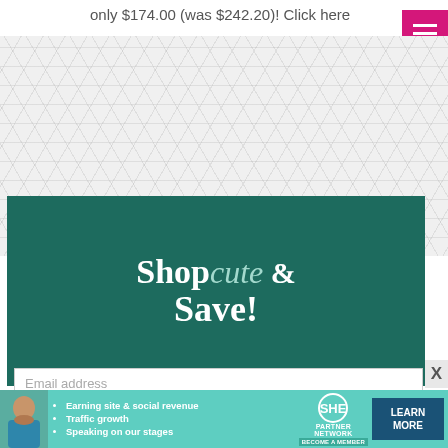only $174.00 (was $242.20)! Click here
[Figure (screenshot): Pink/magenta hamburger menu button (three white horizontal lines on pink background) in top right corner]
[Figure (illustration): Light grey hexagonal/geometric pattern background area]
[Figure (illustration): Dark teal/green banner with text: Shop cute & Save!]
Email address
X
[Figure (infographic): SHE Partner Network advertisement banner with teal background showing bullet points: Earning site & social revenue, Traffic growth, Speaking on our stages. Includes SHE logo and LEARN MORE button.]